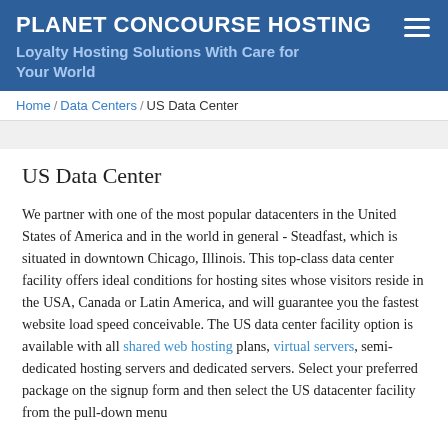PLANET CONCOURSE HOSTING
Loyalty Hosting Solutions With Care for Your World
Home / Data Centers / US Data Center
US Data Center
We partner with one of the most popular datacenters in the United States of America and in the world in general - Steadfast, which is situated in downtown Chicago, Illinois. This top-class data center facility offers ideal conditions for hosting sites whose visitors reside in the USA, Canada or Latin America, and will guarantee you the fastest website load speed conceivable. The US data center facility option is available with all shared web hosting plans, virtual servers, semi-dedicated hosting servers and dedicated servers. Select your preferred package on the signup form and then select the US datacenter facility from the pull-down menu